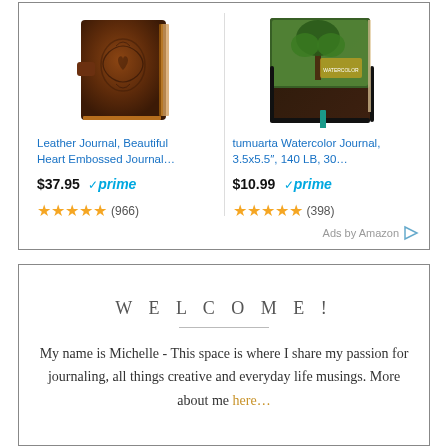[Figure (other): Amazon ad unit showing two journal products side by side. Left: Leather Journal with brown embossed cover. Right: tumuarta Watercolor Journal with green tree cover and elastic band.]
Leather Journal, Beautiful Heart Embossed Journal...
$37.95 ✓prime
★★★★★ (966)

tumuarta Watercolor Journal, 3.5x5.5", 140 LB, 30...
$10.99 ✓prime
★★★★★ (398)

Ads by Amazon ▷
WELCOME!
My name is Michelle - This space is where I share my passion for journaling, all things creative and everyday life musings. More about me here...